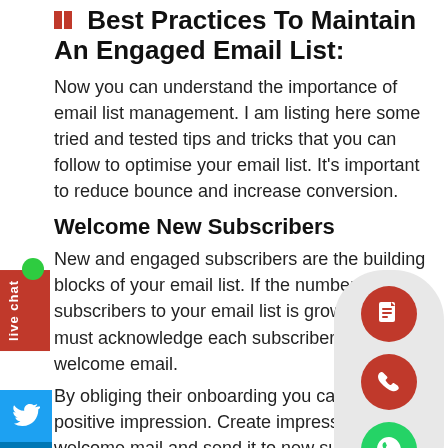Best Practices To Maintain An Engaged Email List:
Now you can understand the importance of email list management. I am listing here some tried and tested tips and tricks that you can follow to optimise your email list. It's important to reduce bounce and increase conversion.
Welcome New Subscribers
New and engaged subscribers are the building blocks of your email list. If the number of subscribers to your email list is growing, you must acknowledge each subscriber with a welcome email.
By obliging their onboarding you can create a positive impression. Create impressive welcome mail and send it to new subscribers as soon as